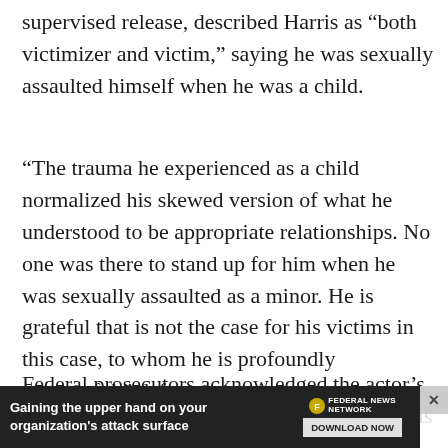supervised release, described Harris as “both victimizer and victim,” saying he was sexually assaulted himself when he was a child.
“The trauma he experienced as a child normalized his skewed version of what he understood to be appropriate relationships. No one was there to stand up for him when he was sexually assaulted as a minor. He is grateful that is not the case for his victims in this case, to whom he is profoundly remorseful.” defense attorneys wrote.
Federal prosecutors acknowledged the actor’s trauma but still accused him of factoring in his crime... as
[Figure (other): Advertisement overlay: 'Gaining the upper hand on your organization's attack surface' with Federal News Network logo and DOWNLOAD NOW button]